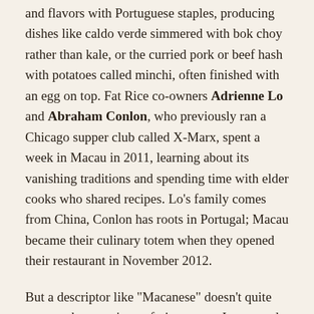and flavors with Portuguese staples, producing dishes like caldo verde simmered with bok choy rather than kale, or the curried pork or beef hash with potatoes called minchi, often finished with an egg on top. Fat Rice co-owners Adrienne Lo and Abraham Conlon, who previously ran a Chicago supper club called X-Marx, spent a week in Macau in 2011, learning about its vanishing traditions and spending time with elder cooks who shared recipes. Lo's family comes from China, Conlon has roots in Portugal; Macau became their culinary totem when they opened their restaurant in November 2012.
But a descriptor like "Macanese" doesn't quite capture the menu's wayfaring scope. I peppered my server with questions about the South Indian curry leaves in a shrimp and okra sauté, the Goan mustard seed masala spiking pickled radish sprouts, the "gallina Africana" (piri piri chicken in tomato-